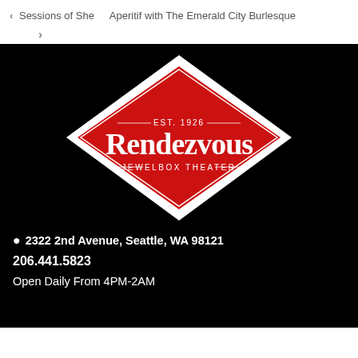< Sessions of She   Aperitif with The Emerald City Burlesque >
[Figure (logo): Rendezvous Jewelbox Theater logo: red diamond shape with white border containing text 'EST. 1926 Rendezvous JEWELBOX THEATER' on black background]
2322 2nd Avenue, Seattle, WA 98121
206.441.5823
Open Daily From 4PM-2AM